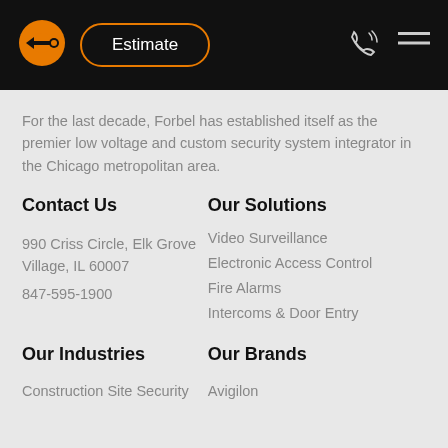[Figure (logo): Orange circular logo with USB/arrow icon]
Estimate
[Figure (illustration): Phone/call icon]
[Figure (illustration): Hamburger menu icon]
For the last decade, Forbel has established itself as the premier low voltage and custom security system integrator in the Chicago metropolitan area.
Contact Us
Our Solutions
990 Criss Circle, Elk Grove Village, IL 60007
847-595-1900
Video Surveillance
Electronic Access Control
Fire Alarms
Intercoms & Door Entry
Our Industries
Our Brands
Construction Site Security
Avigilon